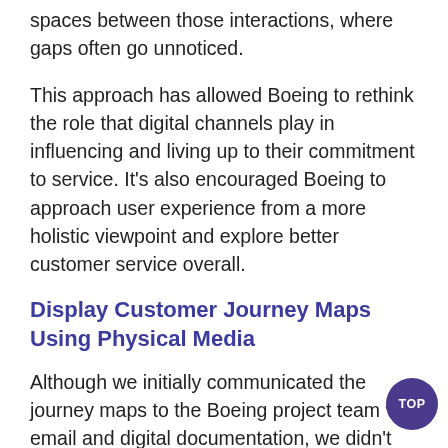spaces between those interactions, where gaps often go unnoticed.
This approach has allowed Boeing to rethink the role that digital channels play in influencing and living up to their commitment to service. It's also encouraged Boeing to approach user experience from a more holistic viewpoint and explore better customer service overall.
Display Customer Journey Maps Using Physical Media
Although we initially communicated the journey maps to the Boeing project team via email and digital documentation, we didn't see their full impact until we displayed the journey maps on poster board.
During our research-findings presentation, we placed the journey maps strategically around the room, allowing stakeholders and executives to view, ponder, and